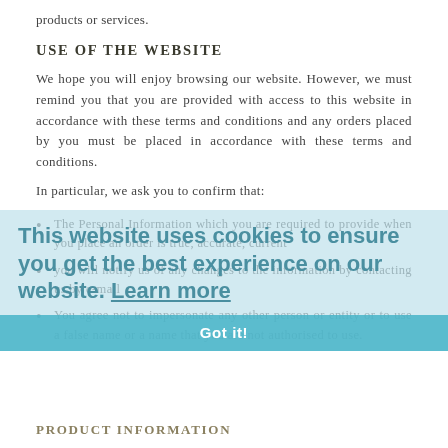products or services.
USE OF THE WEBSITE
We hope you will enjoy browsing our website. However, we must remind you that you are provided with access to this website in accordance with these terms and conditions and any orders placed by you must be placed in accordance with these terms and conditions.
In particular, we ask you to confirm that:
The Personal Information which you are required to provide when you place an order is true, accurate, current
you will notify us of any changes to the information by contacting us by e-mail
You agree not to impersonate any other person or entity or to use a false name or a name that you are not authorised to use.
[Figure (infographic): Cookie consent overlay banner reading 'This website uses cookies to ensure you get the best experience on our website. Learn more' with a teal 'Got it!' button]
PRODUCT INFORMATION